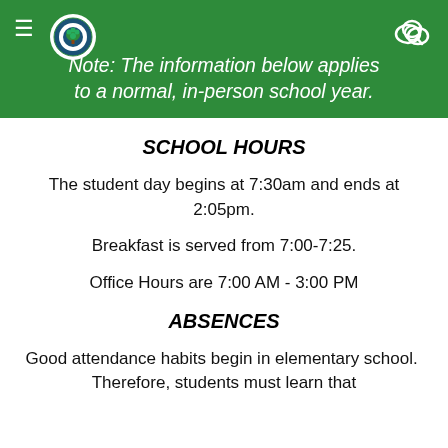Note: The information below applies to a normal, in-person school year.
SCHOOL HOURS
The student day begins at 7:30am and ends at 2:05pm.
Breakfast is served from 7:00-7:25.
Office Hours are 7:00 AM - 3:00 PM
ABSENCES
Good attendance habits begin in elementary school.  Therefore, students must learn that